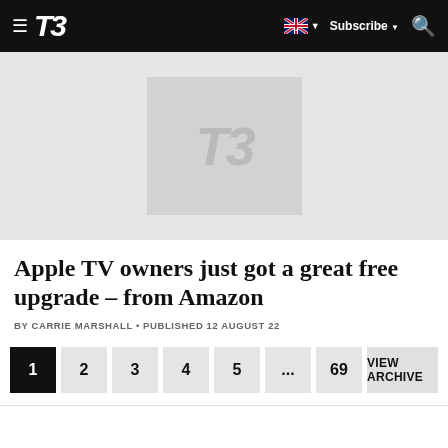T3 — Subscribe — Search — Australia flag
[Figure (logo): T3 magazine logo placeholder image with light grey background]
Apple TV owners just got a great free upgrade – from Amazon
BY CARRIE MARSHALL • PUBLISHED 12 AUGUST 22
1 2 3 4 5 ... 69 VIEW ARCHIVE